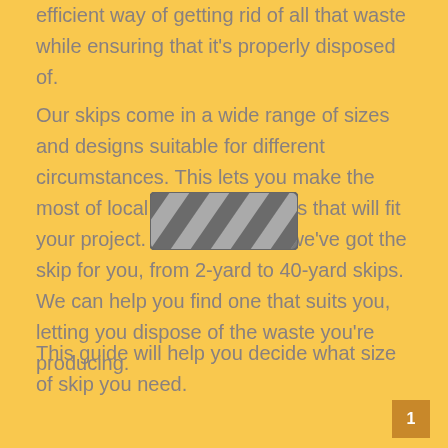efficient way of getting rid of all that waste while ensuring that it's properly disposed of.
Our skips come in a wide range of sizes and designs suitable for different circumstances. This lets you make the most of local skip hire services that will fit your project. Large or small, we've got the skip for you, from 2-yard to 40-yard skips. We can help you find one that suits you, letting you dispose of the waste you're producing.
[Figure (illustration): A rectangular skip/container icon with diagonal hazard stripes in dark gray and lighter gray, representing a waste skip.]
This guide will help you decide what size of skip you need.
1